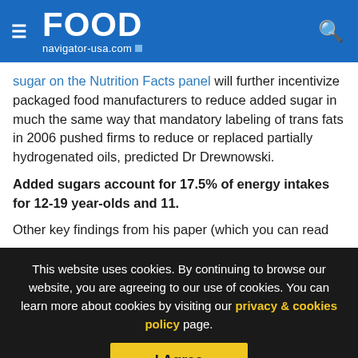FOOD navigator-usa.com
sugar on the Nutrition Facts panel will further incentivize packaged food manufacturers to reduce added sugar in much the same way that mandatory labeling of trans fats in 2006 pushed firms to reduce or replaced partially hydrogenated oils, predicted Dr Drewnowski.
Added sugars account for 17.5% of energy intakes for 12-19 year-olds and 11.
Other key findings from his paper (which you can read HERE)
This website uses cookies. By continuing to browse our website, you are agreeing to our use of cookies. You can learn more about cookies by visiting our privacy & cookies policy page.
I Agree